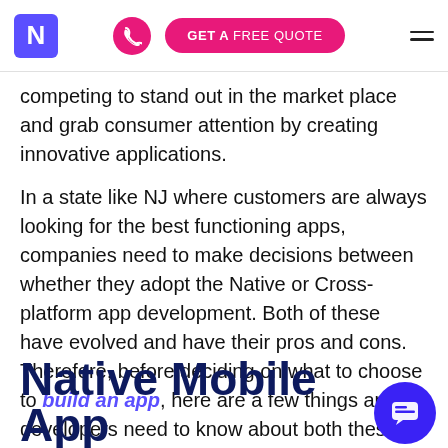N  [phone]  GET A FREE QUOTE  [menu]
competing to stand out in the market place and grab consumer attention by creating innovative applications.
In a state like NJ where customers are always looking for the best functioning apps, companies need to make decisions between whether they adopt the Native or Cross-platform app development. Both of these have evolved and have their pros and cons. Therefore, before deciding on what to choose to build an app, here are a few things app developers need to know about both these platforms:
Native Mobile App